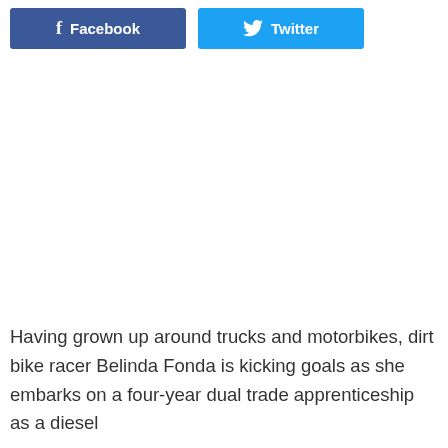[Figure (other): Social share buttons: Facebook (dark blue) and Twitter (light blue)]
Having grown up around trucks and motorbikes, dirt bike racer Belinda Fonda is kicking goals as she embarks on a four-year dual trade apprenticeship as a diesel